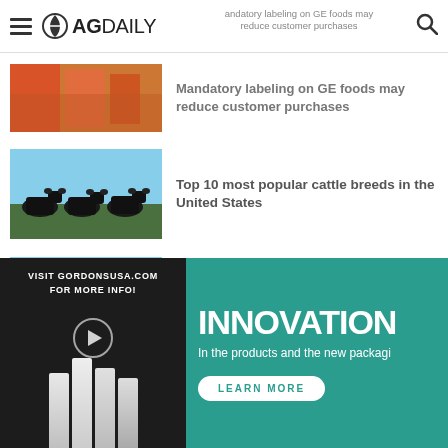AG DAILY
Mandatory labeling on GE foods may reduce customer purchases
[Figure (photo): Colorful food products on shelves (partially visible, cropped at top)]
[Figure (photo): Black Angus cattle standing in a group looking at camera, blue sky background]
Top 10 most popular cattle breeds in the United States
[Figure (photo): Green soybean or crop plants growing in rich dark soil with bright sky]
RIPE researchers improve yields and photosynthetic efficiency
[Figure (photo): Partially visible image at bottom (cropped)]
[Figure (infographic): Advertisement: Visit gordonsusa.com for more info with product bottles and play button]
[Figure (infographic): Innovation ad banner on teal background with Learn More button: In the products and the new packaging]